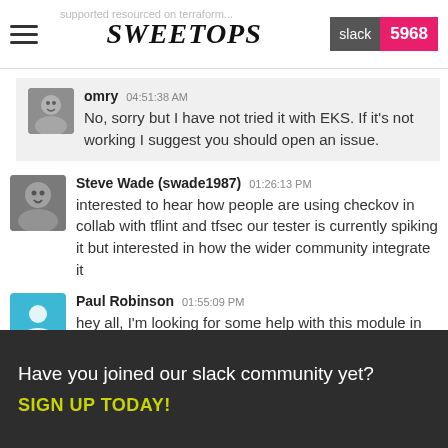SweetOps | slack 5968
omry 04:51:38 AM — No, sorry but I have not tried it with EKS. If it's not working I suggest you should open an issue.
Steve Wade (swade1987) 01:26:13 PM — interested to hear how people are using checkov in collab with tflint and tfsec our tester is currently spiking it but interested in how the wider community integrate it
Paul Robinson 01:55:09 PM — hey all, I'm looking for some help with this module in preparation for a couple of prs please. https://github.com/cloudposse/terraform-aws-transit-gateway
Have you joined our slack community yet? SIGN UP TODAY!